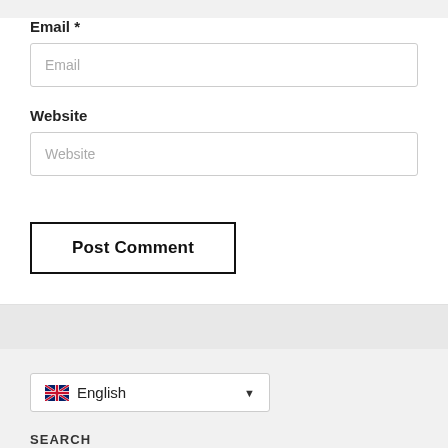Email *
Email (placeholder)
Website
Website (placeholder)
Post Comment
[Figure (screenshot): Language selector dropdown showing UK flag and English label with dropdown arrow]
SEARCH